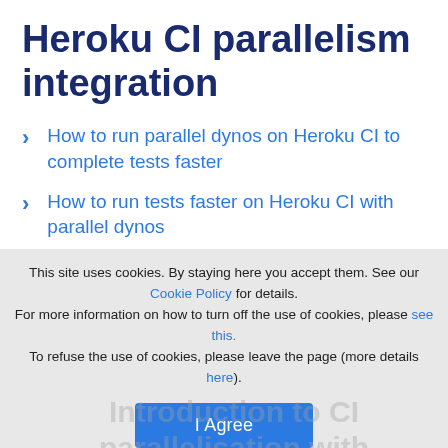Heroku CI parallelism integration
How to run parallel dynos on Heroku CI to complete tests faster
How to run tests faster on Heroku CI with parallel dynos
This site uses cookies. By staying here you accept them. See our Cookie Policy for details. For more information on how to turn off the use of cookies, please see this. To refuse the use of cookies, please leave the page (more details here).
I Agree
Introduction to CI parallelisation with